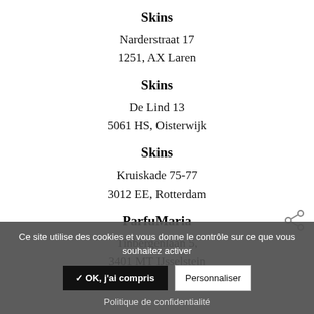Skins
Narderstraat 17
1251, AX Laren
Skins
De Lind 13
5061 HS, Oisterwijk
Skins
Kruiskade 75-77
3012 EE, Rotterdam
ParfuMaria
Tinbergenlaan 5,
3401 MT IJsselstein
Ce site utilise des cookies et vous donne le contrôle sur ce que vous souhaitez activer
✓ OK, j'ai compris
Personnaliser
Politique de confidentialité